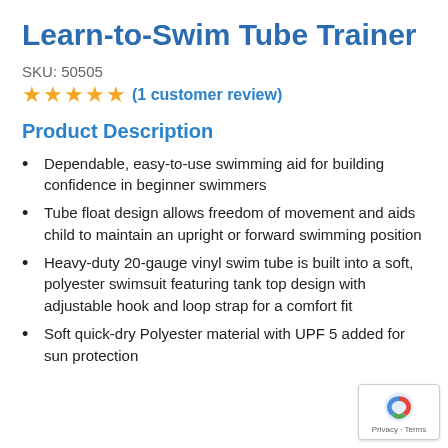Learn-to-Swim Tube Trainer
SKU: 50505
★★★★★ (1 customer review)
Product Description
Dependable, easy-to-use swimming aid for building confidence in beginner swimmers
Tube float design allows freedom of movement and aids child to maintain an upright or forward swimming position
Heavy-duty 20-gauge vinyl swim tube is built into a soft, polyester swimsuit featuring tank top design with adjustable hook and loop strap for a comfort fit
Soft quick-dry Polyester material with UPF 5 added for sun protection